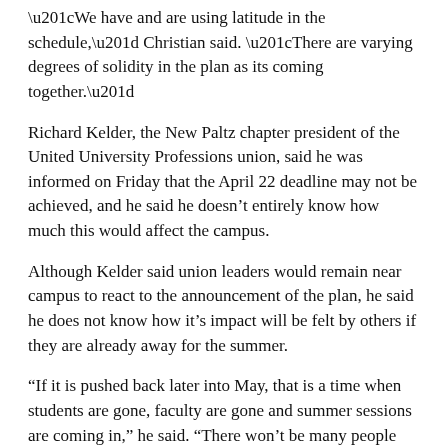“We have and are using latitude in the schedule,” Christian said. “There are varying degrees of solidity in the plan as its coming together.”
Richard Kelder, the New Paltz chapter president of the United University Professions union, said he was informed on Friday that the April 22 deadline may not be achieved, and he said he doesn’t entirely know how much this would affect the campus.
Although Kelder said union leaders would remain near campus to react to the announcement of the plan, he said he does not know how it’s impact will be felt by others if they are already away for the summer.
“If it is pushed back later into May, that is a time when students are gone, faculty are gone and summer sessions are coming in,” he said. “There won’t be many people here to react to that.”
Chief of Staff Shelly Wright said administrators will continue to work to develop a budget plan that reflects the core mission of the institution so that decisions can be conveyed to the campus community before the summer begins. The budget plan would go into effect on July 1.